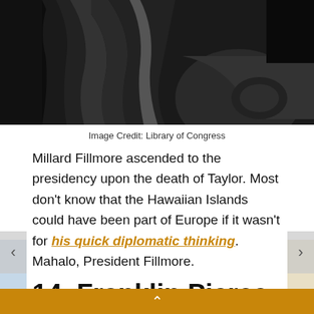[Figure (photo): Black and white historical photograph showing a person seated in an ornate chair, wearing dark formal attire. The image is cropped to show primarily the lower body and chair detail.]
Image Credit: Library of Congress
Millard Fillmore ascended to the presidency upon the death of Taylor. Most don't know that the Hawaiian Islands could have been part of Europe if it wasn't for his quick diplomatic thinking. Mahalo, President Fillmore.
14. Franklin Pierce